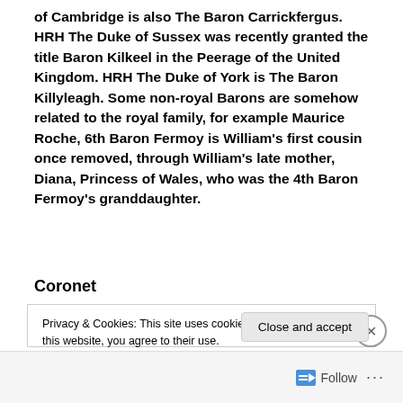of Cambridge is also The Baron Carrickfergus. HRH The Duke of Sussex was recently granted the title Baron Kilkeel in the Peerage of the United Kingdom. HRH The Duke of York is The Baron Killyleagh. Some non-royal Barons are somehow related to the royal family, for example Maurice Roche, 6th Baron Fermoy is William's first cousin once removed, through William's late mother, Diana, Princess of Wales, who was the 4th Baron Fermoy's granddaughter.
Coronet
Privacy & Cookies: This site uses cookies. By continuing to use this website, you agree to their use.
To find out more, including how to control cookies, see here: Cookie Policy
Follow ···